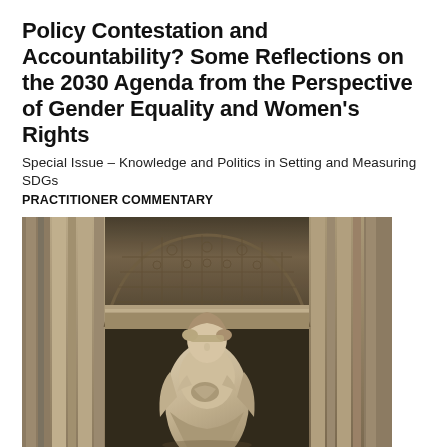Policy Contestation and Accountability? Some Reflections on the 2030 Agenda from the Perspective of Gender Equality and Women's Rights
Special Issue – Knowledge and Politics in Setting and Measuring SDGs
PRACTITIONER COMMENTARY
[Figure (photo): Photograph of a stone statue of a female figure with eyes closed or blindfolded, wearing draped robes and holding objects, positioned in front of ornate Gothic architectural stonework with carved floral decorations.]
Marie Laberge and Nadia Touihri – Can SDG 16 Data Drive National Accountability? A